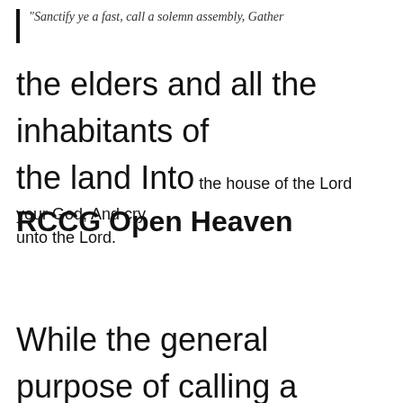“Sanctify ye a fast, call a solemn assembly, Gather
the elders and all the inhabitants of the land Into the house of the Lord your God, And cry unto the Lord.
RCCG Open Heaven
While the general purpose of calling a solemn assembly is to gather the people of God